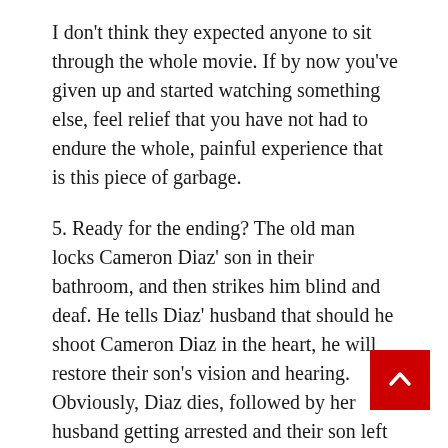I don't think they expected anyone to sit through the whole movie. If by now you've given up and started watching something else, feel relief that you have not had to endure the whole, painful experience that is this piece of garbage.
5. Ready for the ending? The old man locks Cameron Diaz' son in their bathroom, and then strikes him blind and deaf. He tells Diaz' husband that should he shoot Cameron Diaz in the heart, he will restore their son's vision and hearing. Obviously, Diaz dies, followed by her husband getting arrested and their son left to watch his mother be put into an ambulance and father put into a police car. Then, another family presses the button on another box, restarting the whole cycle. When asked why the old man was doing these horrible things, he replied, "The